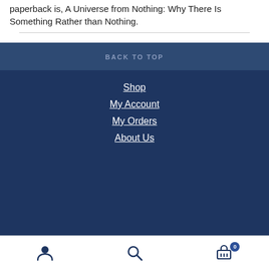paperback is, A Universe from Nothing: Why There Is Something Rather than Nothing.
BACK TO TOP
Shop
My Account
My Orders
About Us
User icon | Search icon | Cart (0)